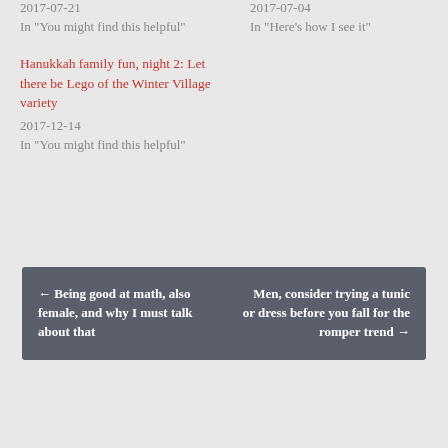2017-07-21
In "You might find this helpful"
Hanukkah family fun, night 2: Let there be Lego of the Winter Village variety
2017-12-14
In "You might find this helpful"
2017-07-04
In "Here's how I see it"
← Being good at math, also female, and why I must talk about that
Men, consider trying a tunic or dress before you fall for the romper trend →